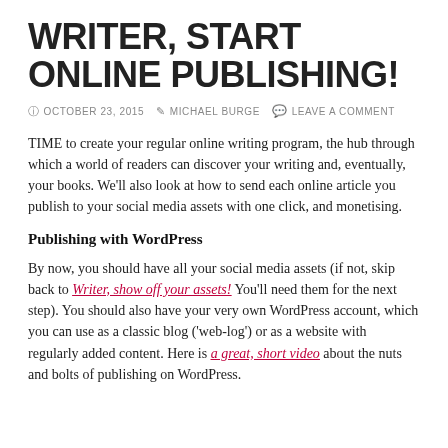WRITER, START ONLINE PUBLISHING!
© OCTOBER 23, 2015   ✎ MICHAEL BURGE   ✉ LEAVE A COMMENT
TIME to create your regular online writing program, the hub through which a world of readers can discover your writing and, eventually, your books. We'll also look at how to send each online article you publish to your social media assets with one click, and monetising.
Publishing with WordPress
By now, you should have all your social media assets (if not, skip back to Writer, show off your assets! You'll need them for the next step). You should also have your very own WordPress account, which you can use as a classic blog ('web-log') or as a website with regularly added content. Here is a great, short video about the nuts and bolts of publishing on WordPress.